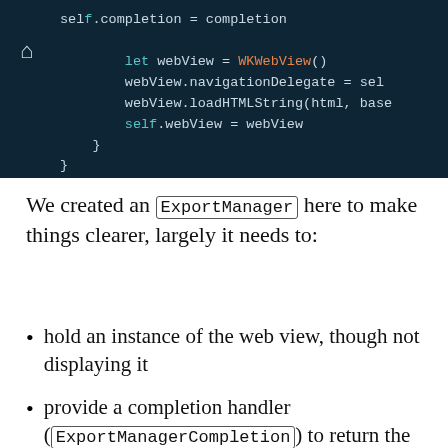[Figure (screenshot): Dark-themed code editor screenshot showing Swift code with WKWebView initialization. Code includes: self.completion = completion, let webView = WKWebView(), webView.navigationDelegate = self, webView.loadHTMLString(html, base..., self.webView = webView, closing braces. A home icon appears on the left side.]
We created an ExportManager here to make things clearer, largely it needs to:
hold an instance of the web view, though not displaying it
provide a completion handler (ExportManagerCompletion) to return the PDF data